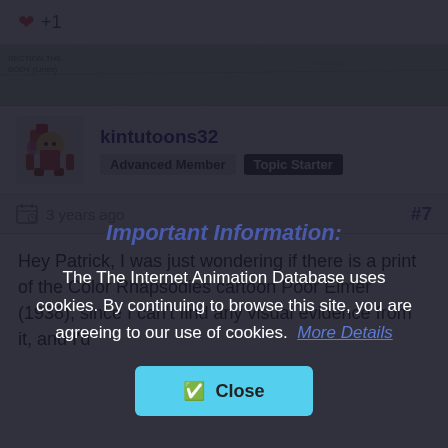❤ +1
[Figure (screenshot): Map background strip with faint geographical text and lines]
kintutoons32
Advanced Member  Topic Starter
3 years ago  #7
Hey Patrick, I was just wondering if there is a print of the Color Rhapsodies cartoon Poor Elmer (1938), since I can't find any visual evidence from it, and I'd
Important Information:
The The Internet Animation Database uses cookies. By continuing to browse this site, you are agreeing to our use of cookies.  More Details